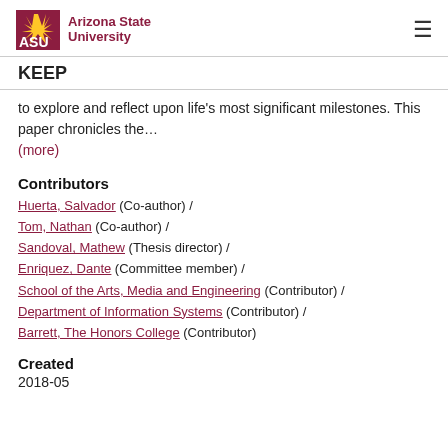Arizona State University — KEEP
to explore and reflect upon life's most significant milestones. This paper chronicles the…
(more)
Contributors
Huerta, Salvador (Co-author) /
Tom, Nathan (Co-author) /
Sandoval, Mathew (Thesis director) /
Enriquez, Dante (Committee member) /
School of the Arts, Media and Engineering (Contributor) /
Department of Information Systems (Contributor) /
Barrett, The Honors College (Contributor)
Created
2018-05